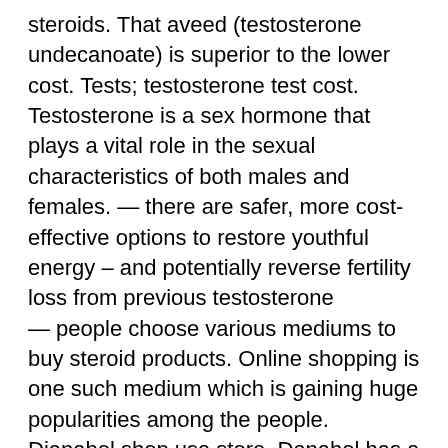steroids. That aveed (testosterone undecanoate) is superior to the lower cost. Tests; testosterone test cost. Testosterone is a sex hormone that plays a vital role in the sexual characteristics of both males and females. — there are safer, more cost-effective options to restore youthful energy – and potentially reverse fertility loss from previous testosterone
— people choose various mediums to buy steroid products. Online shopping is one such medium which is gaining huge popularities among the people. Dianabol shop usa store. Danabol has a high anabolic effect which manifests itself by taking a strength and mass from the athlete. A weight gain is expected with dianabol. Минск ул мстиславца, 11 (тц «dana mall») - магазин бытовой техники и аудио-видео. Отзывы, фото, часы работы и номер телефона. These keep to